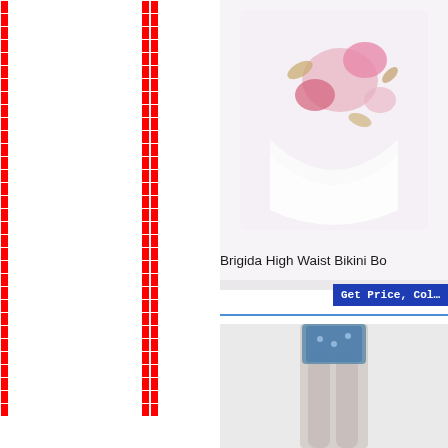[Figure (other): Red square dot border strip on the left edge of the page, repeating vertical pattern of single red rectangles]
[Figure (other): Red square dot border strip in the middle-left area, repeating vertical pattern of paired red rectangles]
[Figure (photo): Product photo top-right: Brigida High Waist Bikini Bottom, floral print swimwear folded/displayed, white background with pink and gold flowers]
Brigida High Waist Bikini Bo
[Figure (screenshot): Blue button labeled 'Get Price, Col...' (truncated)]
[Figure (photo): Second product photo bottom-right, partially visible, appears to be another swimwear/apparel item on a model]